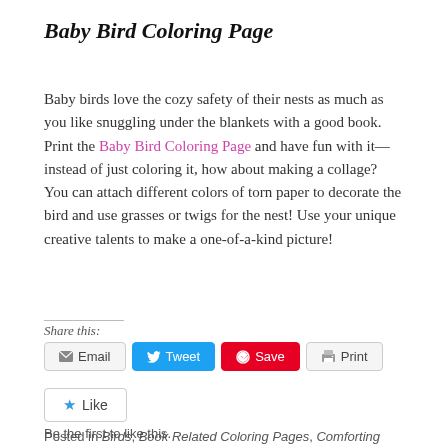Baby Bird Coloring Page
Baby birds love the cozy safety of their nests as much as you like snuggling under the blankets with a good book. Print the Baby Bird Coloring Page and have fun with it—instead of just coloring it, how about making a collage? You can attach different colors of torn paper to decorate the bird and use grasses or twigs for the nest! Use your unique creative talents to make a one-of-a-kind picture!
Share this:
Email  Tweet  Save  Print
Like
Be the first to like this.
Posted in Birds, Book Related Coloring Pages, Comforting